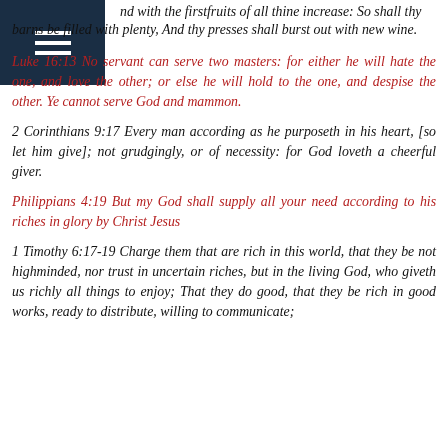[Figure (other): Dark blue hamburger menu icon in top-left corner]
nd with the firstfruits of all thine increase: So shall thy barns be filled with plenty, And thy presses shall burst out with new wine.
Luke 16:13 No servant can serve two masters: for either he will hate the one, and love the other; or else he will hold to the one, and despise the other. Ye cannot serve God and mammon.
2 Corinthians 9:17 Every man according as he purposeth in his heart, [so let him give]; not grudgingly, or of necessity: for God loveth a cheerful giver.
Philippians 4:19 But my God shall supply all your need according to his riches in glory by Christ Jesus
1 Timothy 6:17-19 Charge them that are rich in this world, that they be not highminded, nor trust in uncertain riches, but in the living God, who giveth us richly all things to enjoy; That they do good, that they be rich in good works, ready to distribute, willing to communicate;